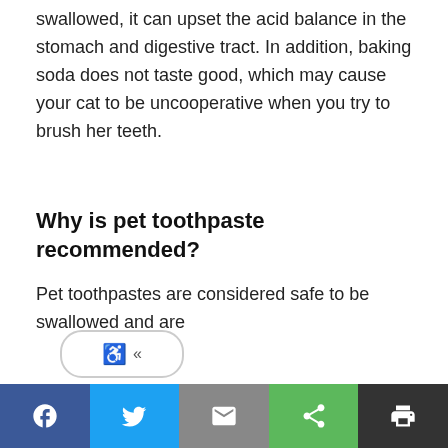swallowed, it can upset the acid balance in the stomach and digestive tract. In addition, baking soda does not taste good, which may cause your cat to be uncooperative when you try to brush her teeth.
Why is pet toothpaste recommended?
Pet toothpastes are considered safe to be swallowed and are